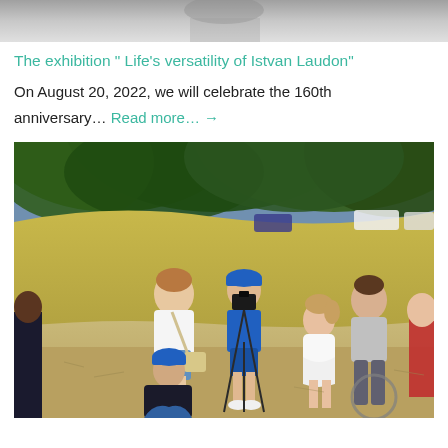[Figure (photo): Partial top image, cropped photo showing what appears to be people in a formal or indoor setting, only the bottom strip visible.]
The exhibition " Life's versatility of Istvan Laudon"
On August 20, 2022, we will celebrate the 160th anniversary… Read more… →
[Figure (photo): Outdoor photo showing a group of people including children and adults gathered on dry grassy ground under large trees. A boy wearing a blue cap and blue outfit is photographing with a camera on a tripod. A woman in a white shirt and shorts stands nearby. Other children and adults are visible around them.]